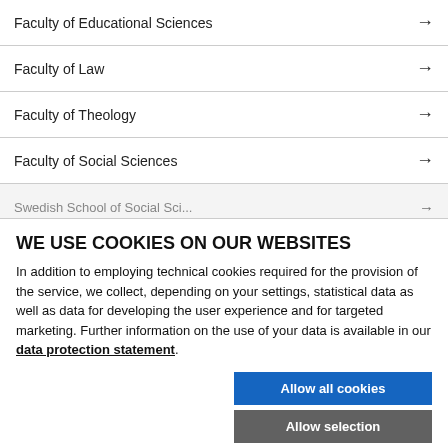Faculty of Educational Sciences →
Faculty of Law →
Faculty of Theology →
Faculty of Social Sciences →
Swedish School of Social Sci... →
WE USE COOKIES ON OUR WEBSITES
In addition to employing technical cookies required for the provision of the service, we collect, depending on your settings, statistical data as well as data for developing the user experience and for targeted marketing. Further information on the use of your data is available in our data protection statement.
Allow all cookies
Allow selection
Use necessary cookies only
Necessary technical cookies   Functional cookies   Statistics cookies   Marketing cookies   Show details